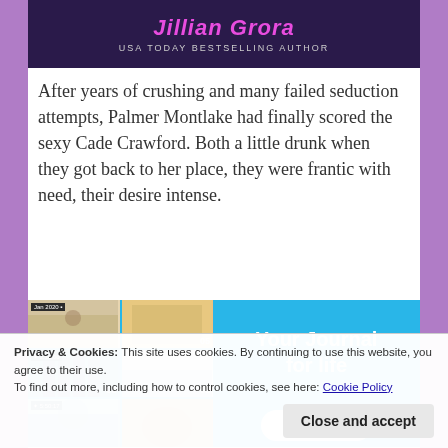[Figure (illustration): Book cover partial showing author name in pink italic text on dark purple background with subtitle 'USA TODAY BESTSELLING AUTHOR']
After years of crushing and many failed seduction attempts, Palmer Montlake had finally scored the sexy Cade Crawford. Both a little drunk when they got back to her place, they were frantic with need, their desire intense.
[Figure (screenshot): App advertisement showing journal/diary app with photo collage on left side and 'Your Journal for life' text with 'Get the app' button on blue background]
Privacy & Cookies:  This site uses cookies. By continuing to use this website, you agree to their use.
To find out more, including how to control cookies, see here: Cookie Policy
Close and accept